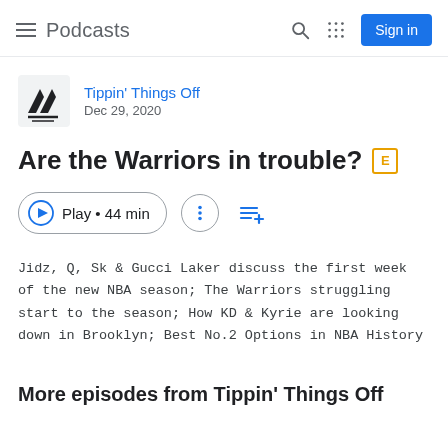Podcasts
Tippin' Things Off
Dec 29, 2020
Are the Warriors in trouble? [E]
Play • 44 min
Jidz, Q, Sk & Gucci Laker discuss the first week of the new NBA season; The Warriors struggling start to the season; How KD & Kyrie are looking down in Brooklyn; Best No.2 Options in NBA History
More episodes from Tippin' Things Off